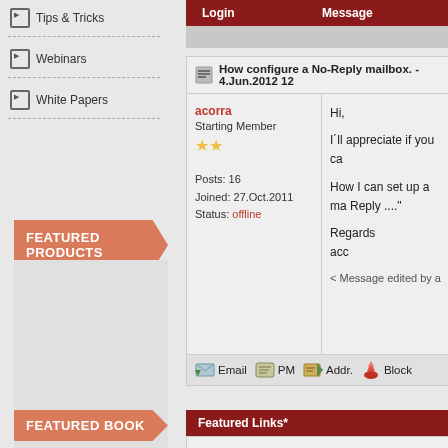Tips & Tricks
Webinars
White Papers
FEATURED PRODUCTS
Login    Message
How configure a No-Reply mailbox. - 4.Jun.2012 12
acorra
Starting Member
★★
Posts: 16
Joined: 27.Oct.2011
Status: offline
Hi,

I´ll appreciate if you ca

How I can set up a ma Reply ...."

Regards
acc

< Message edited by a
Email  PM  Addr.  Block
Featured Links*
FEATURED BOOK